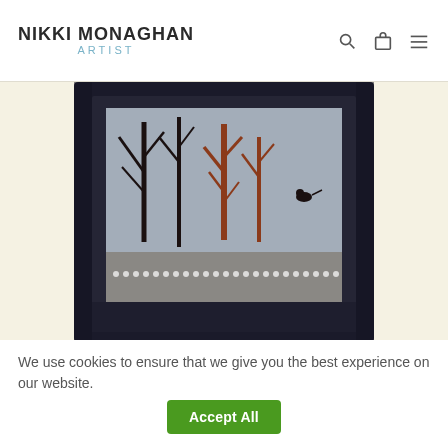NIKKI MONAGHAN ARTIST
[Figure (photo): A framed artwork in a dark black frame showing stylized trees and a bird against a grey background, with dotted decorative elements along the bottom of the painting. The frame is thick and dark, filling most of the image area.]
EXHIBITIONS
We use cookies to ensure that we give you the best experience on our website. Accept All